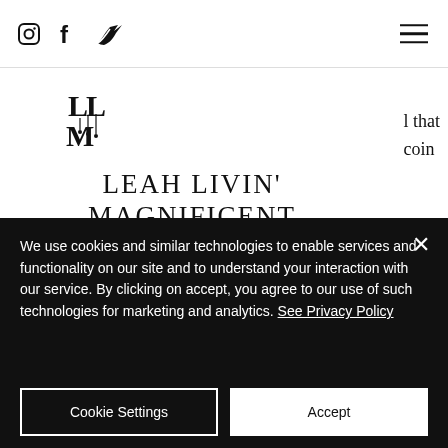Social icons (Instagram, Facebook, Twitter) and hamburger menu
[Figure (logo): LLM chandelier monogram logo]
LEAH LIVIN' MAGNIFICENT MOMENTS
l that coin
EN (language dropdown)
Get In Touch
und
We use cookies and similar technologies to enable services and functionality on our site and to understand your interaction with our service. By clicking on accept, you agree to our use of such technologies for marketing and analytics. See Privacy Policy
Cookie Settings
Accept